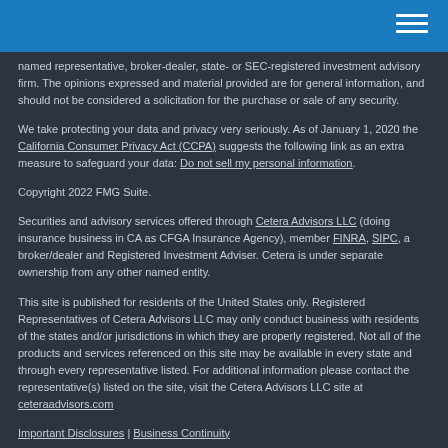named representative, broker-dealer, state- or SEC-registered investment advisory firm. The opinions expressed and material provided are for general information, and should not be considered a solicitation for the purchase or sale of any security.
We take protecting your data and privacy very seriously. As of January 1, 2020 the California Consumer Privacy Act (CCPA) suggests the following link as an extra measure to safeguard your data: Do not sell my personal information.
Copyright 2022 FMG Suite.
Securities and advisory services offered through Cetera Advisors LLC (doing insurance business in CA as CFGA Insurance Agency), member FINRA, SIPC, a broker/dealer and Registered Investment Adviser. Cetera is under separate ownership from any other named entity.
This site is published for residents of the United States only. Registered Representatives of Cetera Advisors LLC may only conduct business with residents of the states and/or jurisdictions in which they are properly registered. Not all of the products and services referenced on this site may be available in every state and through every representative listed. For additional information please contact the representative(s) listed on the site, visit the Cetera Advisors LLC site at ceteraadvisors.com
Important Disclosures | Business Continuity